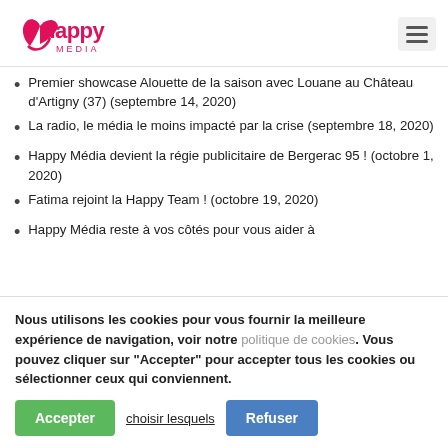[Figure (logo): Happy Media logo in pink/magenta with a leaf/wing icon and the word 'MEDIA' below 'happy']
Premier showcase Alouette de la saison avec Louane au Château d'Artigny (37) (septembre 14, 2020)
La radio, le média le moins impacté par la crise (septembre 18, 2020)
Happy Média devient la régie publicitaire de Bergerac 95 ! (octobre 1, 2020)
Fatima rejoint la Happy Team ! (octobre 19, 2020)
Happy Média reste à vos côtés pour vous aider à
Nous utilisons les cookies pour vous fournir la meilleure expérience de navigation, voir notre politique de cookies. Vous pouvez cliquer sur "Accepter" pour accepter tous les cookies ou sélectionner ceux qui conviennent.